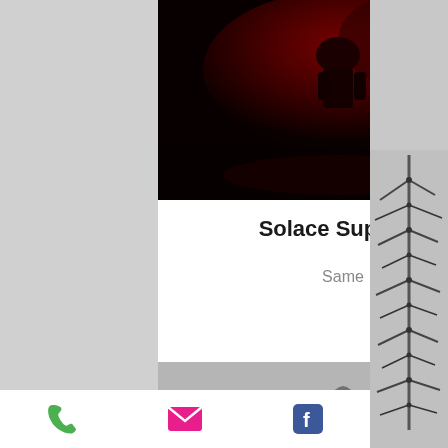[Figure (photo): Dark image with red lighting, appears to show a figure in a dark environment with red/crimson tones]
Solace Supplice
Same
[Figure (photo): Partial gray bar with silhouette figures visible]
[Figure (photo): Colorful image with pink/magenta background and green and red fabric-like objects]
[Figure (photo): Right column grayscale image showing mechanical or sculptural forms]
Phone icon, Email icon, Facebook icon - contact/social bar